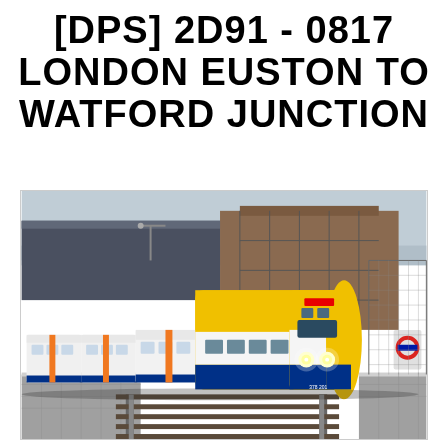[DPS] 2D91 - 0817 LONDON EUSTON TO WATFORD JUNCTION
[Figure (photo): Train simulator screenshot showing a London Overground Class 378 train in yellow, white and blue livery approaching along a platform. The train has its headlights on. Railway station infrastructure including platforms, tracks, a brick building and fencing are visible in the background. A London Underground roundel sign is visible on the right side.]